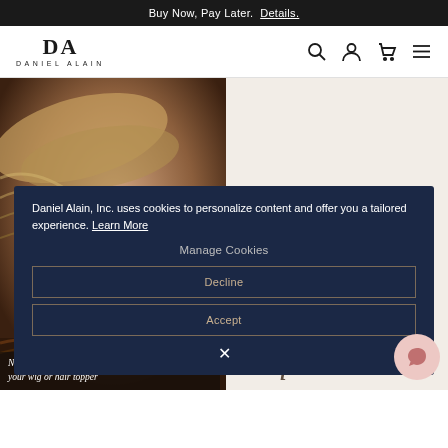Buy Now, Pay Later. Details.
[Figure (logo): Daniel Alain brand logo with stylized DA monogram and full name DANIEL ALAIN]
[Figure (photo): Woman brushing her hair with a dark wooden oval hairbrush, warm brown tones]
Exquisite
Daniel Alain, Inc. uses cookies to personalize content and offer you a tailored experience. Learn More
Manage Cookies
Decline
Accept
N... brushes for maintenance, protection and care of your wig or hair topper